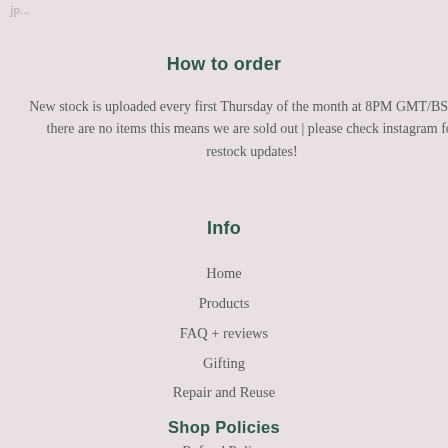How to order
New stock is uploaded every first Thursday of the month at 8PM GMT/BST | if there are no items this means we are sold out | please check instagram for restock updates!
Info
Home
Products
FAQ + reviews
Gifting
Repair and Reuse
Shop Policies
Refund Policy